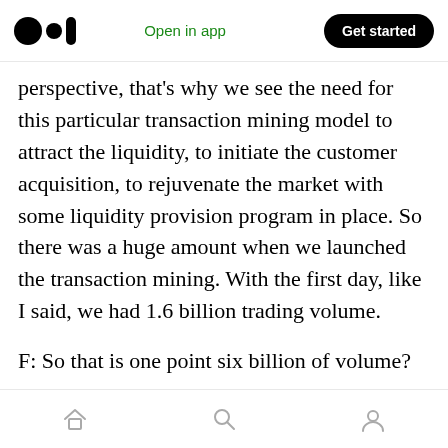Open in app | Get started
perspective, that's why we see the need for this particular transaction mining model to attract the liquidity, to initiate the customer acquisition, to rejuvenate the market with some liquidity provision program in place. So there was a huge amount when we launched the transaction mining. With the first day, like I said, we had 1.6 billion trading volume.
F: So that is one point six billion of volume?
A: Oh by the way, we launched on November 18th. I guess what happened subsequently was